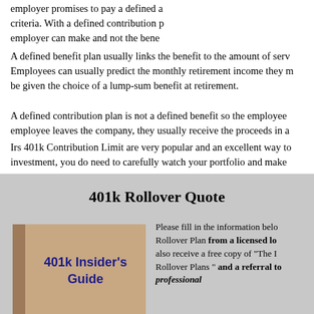employer promises to pay a defined a criteria. With a defined contribution p employer can make and not the bene
A defined benefit plan usually links the benefit to the amount of serv Employees can usually predict the monthly retirement income they m be given the choice of a lump-sum benefit at retirement.
A defined contribution plan is not a defined benefit so the employee employee leaves the company, they usually receive the proceeds in a
Irs 401k Contribution Limit are very popular and an excellent way to investment, you do need to carefully watch your portfolio and make
401k Rollover Quote
[Figure (illustration): Book illustration showing a tan/brown book cover with the title '401k Insider's Guide' in bold dark blue text]
Please fill in the information belo Rollover Plan from a licensed lo also receive a free copy of "The I Rollover Plans " and a referral to professional